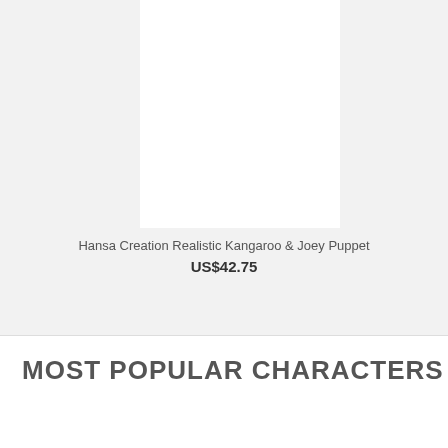[Figure (photo): Product listing card with white image area on gray background for Hansa Creation Realistic Kangaroo & Joey Puppet]
Hansa Creation Realistic Kangaroo & Joey Puppet
US$42.75
MOST POPULAR CHARACTERS